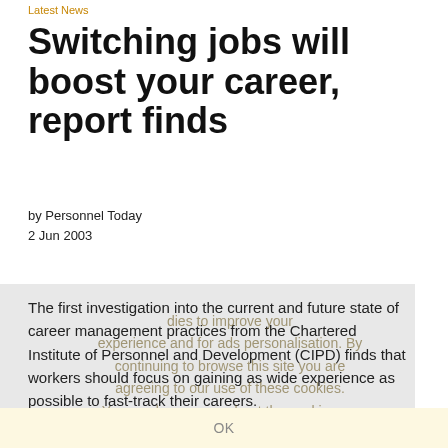Latest News
Switching jobs will boost your career, report finds
by Personnel Today
2 Jun 2003
The first investigation into the current and future state of career management practices from the Chartered Institute of Personnel and Development (CIPD) finds that workers should focus on gaining as wide experience as possible to fast-track their careers.